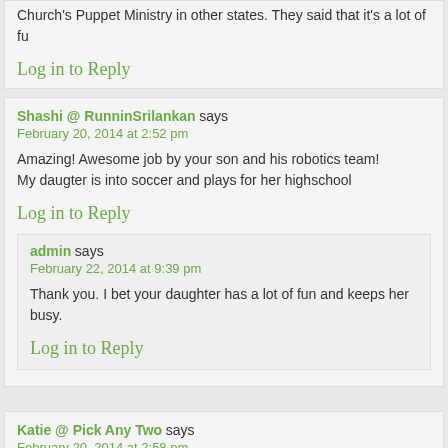Church's Puppet Ministry in other states. They said that it's a lot of fu
Log in to Reply
Shashi @ RunninSrilankan says
February 20, 2014 at 2:52 pm
Amazing! Awesome job by your son and his robotics team! My daugter is into soccer and plays for her highschool
Log in to Reply
admin says
February 22, 2014 at 9:39 pm
Thank you. I bet your daughter has a lot of fun and keeps her busy.
Log in to Reply
Katie @ Pick Any Two says
February 20, 2014 at 2:58 pm